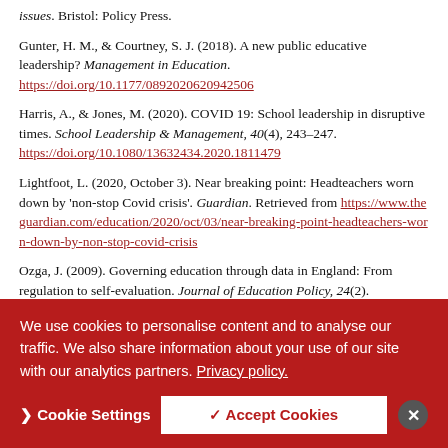issues. Bristol: Policy Press.
Gunter, H. M., & Courtney, S. J. (2018). A new public educative leadership? Management in Education. https://doi.org/10.1177/0892020620942506
Harris, A., & Jones, M. (2020). COVID 19: School leadership in disruptive times. School Leadership & Management, 40(4), 243–247. https://doi.org/10.1080/13632434.2020.1811479
Lightfoot, L. (2020, October 3). Near breaking point: Headteachers worn down by 'non-stop Covid crisis'. Guardian. Retrieved from https://www.theguardian.com/education/2020/oct/03/near-breaking-point-headteachers-worn-down-by-non-stop-covid-crisis
Ozga, J. (2009). Governing education through data in England: From regulation to self-evaluation. Journal of Education Policy, 24(2). https://doi.org/10.1080/02680930903252131
We use cookies to personalise content and to analyse our traffic. We also share information about your use of our site with our analytics partners. Privacy policy.